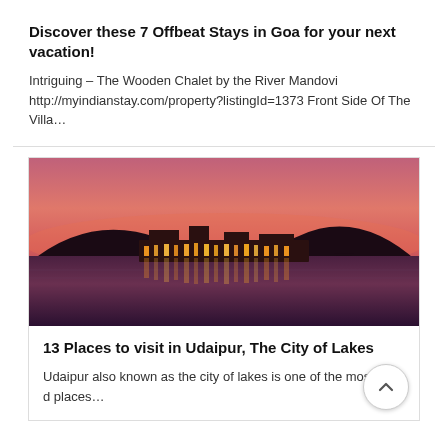Discover these 7 Offbeat Stays in Goa for your next vacation!
Intriguing – The Wooden Chalet by the River Mandovi http://myindianstay.com/property?listingId=1373 Front Side Of The Villa...
[Figure (photo): A palace illuminated at night on a lake, with pink and purple sunset sky and reflections in the water. This is the Lake Palace in Udaipur.]
13 Places to visit in Udaipur, The City of Lakes
Udaipur also known as the city of lakes is one of the most vi... d places...